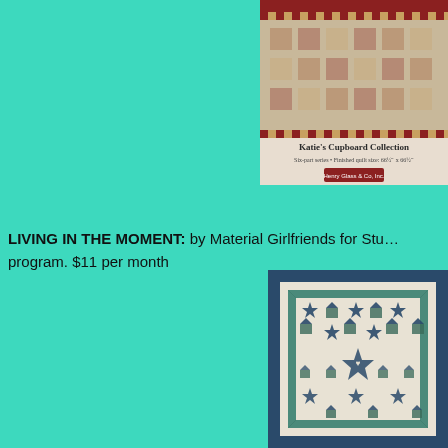[Figure (photo): Quilt pattern book/pattern cover showing 'Katie's Cupboard Collection' - Six-part series, Finished quilt size: 66.5 x 66.5, Henry Glass & Co. Inc.]
LIVING IN THE MOMENT: by Material Girlfriends for Stu... program. $11 per month
[Figure (photo): Close-up photo of a quilt with a pattern of houses and stars in teal, navy and cream colors arranged in a grid pattern]